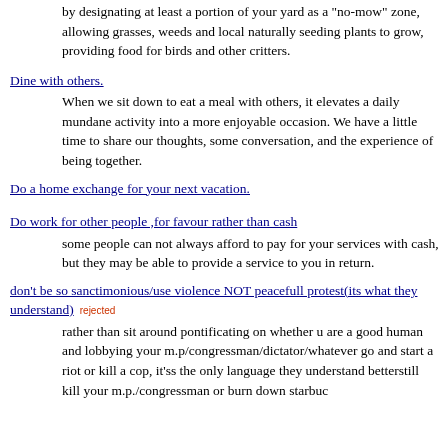by designating at least a portion of your yard as a "no-mow" zone, allowing grasses, weeds and local naturally seeding plants to grow, providing food for birds and other critters.
Dine with others.
When we sit down to eat a meal with others, it elevates a daily mundane activity into a more enjoyable occasion. We have a little time to share our thoughts, some conversation, and the experience of being together.
Do a home exchange for your next vacation.
Do work for other people ,for favour rather than cash
some people can not always afford to pay for your services with cash, but they may be able to provide a service to you in return.
don't be so sanctimonious/use violence NOT peacefull protest(its what they understand) [rejected]
rather than sit around pontificating on whether u are a good human and lobbying your m.p/congressman/dictator/whatever go and start a riot or kill a cop, it'ss the only language they understand betterstill kill your m.p./congressman or burn down starbuc